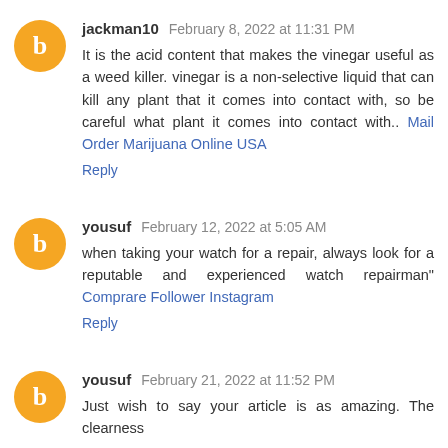jackman10 February 8, 2022 at 11:31 PM
It is the acid content that makes the vinegar useful as a weed killer. vinegar is a non-selective liquid that can kill any plant that it comes into contact with, so be careful what plant it comes into contact with.. Mail Order Marijuana Online USA
Reply
yousuf February 12, 2022 at 5:05 AM
when taking your watch for a repair, always look for a reputable and experienced watch repairman" Comprare Follower Instagram
Reply
yousuf February 21, 2022 at 11:52 PM
Just wish to say your article is as amazing. The clearness